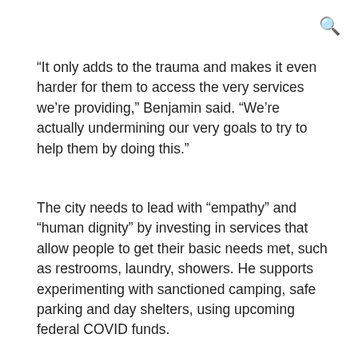[Figure (other): Search icon (magnifying glass) in top-right corner]
“It only adds to the trauma and makes it even harder for them to access the very services we’re providing,” Benjamin said. “We’re actually undermining our very goals to try to help them by doing this.”
The city needs to lead with “empathy” and “human dignity” by investing in services that allow people to get their basic needs met, such as restrooms, laundry, showers. He supports experimenting with sanctioned camping, safe parking and day shelters, using upcoming federal COVID funds.